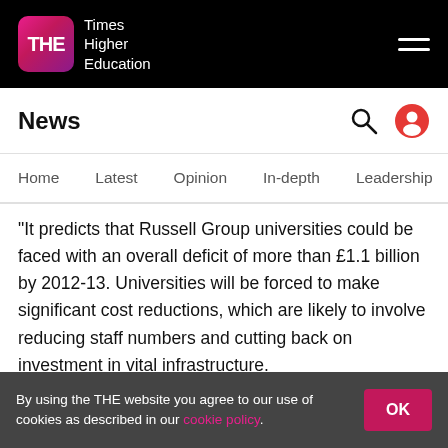[Figure (logo): Times Higher Education (THE) logo — pink/purple gradient square with white THE text, next to 'Times Higher Education' wordmark in white on black background]
News
Home   Latest   Opinion   In-depth   Leadership   D   >
“It predicts that Russell Group universities could be faced with an overall deficit of more than £1.1 billion by 2012-13. Universities will be forced to make significant cost reductions, which are likely to involve reducing staff numbers and cutting back on investment in vital infrastructure.
“In the absence of additional funding, these measures could result in a serious impairment of the student experience and jeopardise the long-term quality of
By using the THE website you agree to our use of cookies as described in our cookie policy.